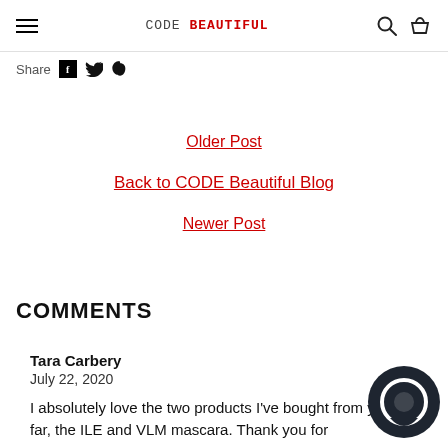CODE BEAUTIFUL — navigation header with hamburger menu, logo, search and basket icons
Share
Older Post
Back to CODE Beautiful Blog
Newer Post
COMMENTS
Tara Carbery
July 22, 2020
I absolutely love the two products I've bought from you so far, the ILE and VLM mascara. Thank you for